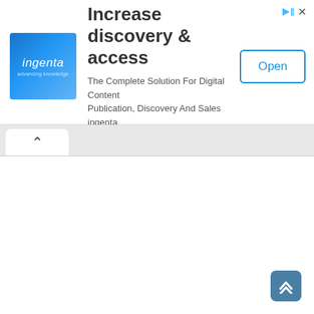[Figure (screenshot): Ingenta advertisement banner: blue square logo with 'ingenta' text, headline 'Increase discovery & access', subtext 'The Complete Solution For Digital Content Publication, Discovery And Sales ingenta', and an 'Open' button. Top-right has ad indicator icons.]
^
[Figure (screenshot): White content area below tab bar, mostly blank white page content area]